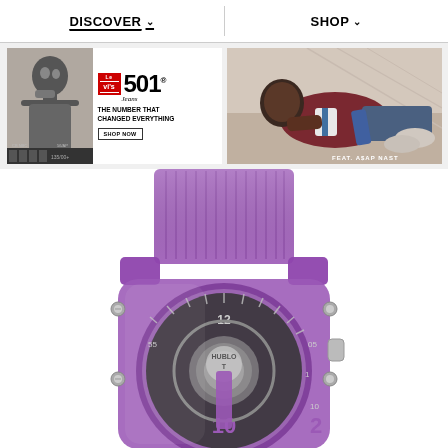DISCOVER ∨    SHOP ∨
[Figure (photo): Levi's 501 Jeans advertisement with black and white photo of person on left, red Levi's badge, 501 logo, tagline 'THE NUMBER THAT CHANGED EVERYTHING', and SHOP NOW button]
[Figure (photo): Photo of ASAP Nast wearing Levi's 501 jeans, reclining on floor in casual pose, wearing red/white varsity jacket and blue jeans]
[Figure (photo): Close-up photograph of a purple/violet transparent Hublot luxury watch with skeletal dial, showing the watch case, strap lugs, crown, and partial dial face with numbers 10 and 2 visible]